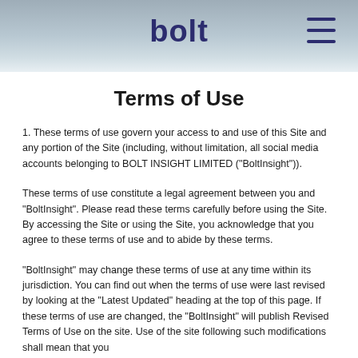bolt
Terms of Use
1. These terms of use govern your access to and use of this Site and any portion of the Site (including, without limitation, all social media accounts belonging to BOLT INSIGHT LIMITED ("BoltInsight")).
These terms of use constitute a legal agreement between you and "BoltInsight". Please read these terms carefully before using the Site. By accessing the Site or using the Site, you acknowledge that you agree to these terms of use and to abide by these terms.
"BoltInsight" may change these terms of use at any time within its jurisdiction. You can find out when the terms of use were last revised by looking at the "Latest Updated" heading at the top of this page. If these terms of use are changed, the "BoltInsight" will publish Revised Terms of Use on the site. Use of the site following such modifications shall mean that you